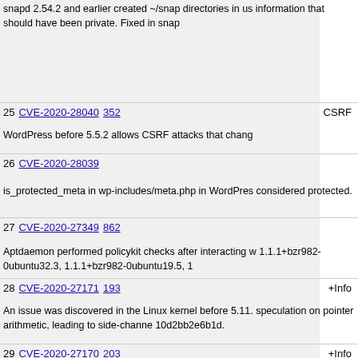snapd 2.54.2 and earlier created ~/snap directories in us... information that should have been private. Fixed in snap...
25  CVE-2020-28040  352    CSRF
WordPress before 5.5.2 allows CSRF attacks that chang...
26  CVE-2020-28039
is_protected_meta in wp-includes/meta.php in WordPres... considered protected.
27  CVE-2020-27349  862
Aptdaemon performed policykit checks after interacting w... 1.1.1+bzr982-0ubuntu32.3, 1.1.1+bzr982-0ubuntu19.5, 1...
28  CVE-2020-27171  193   +Info
An issue was discovered in the Linux kernel before 5.11. speculation on pointer arithmetic, leading to side-channe... 10d2bb2e6b1d.
29  CVE-2020-27170  203   +Info
An issue was discovered in the Linux kernel before 5.11. channel attacks that defeat Spectre mitigations and obta... ptr_limit.